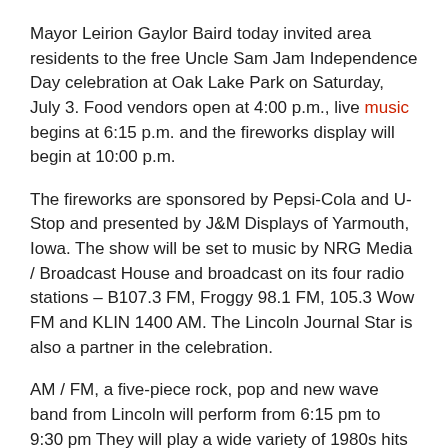Mayor Leirion Gaylor Baird today invited area residents to the free Uncle Sam Jam Independence Day celebration at Oak Lake Park on Saturday, July 3. Food vendors open at 4:00 p.m., live music begins at 6:15 p.m. and the fireworks display will begin at 10:00 p.m.
The fireworks are sponsored by Pepsi-Cola and U-Stop and presented by J&M Displays of Yarmouth, Iowa. The show will be set to music by NRG Media / Broadcast House and broadcast on its four radio stations – B107.3 FM, Froggy 98.1 FM, 105.3 Wow FM and KLIN 1400 AM. The Lincoln Journal Star is also a partner in the celebration.
AM / FM, a five-piece rock, pop and new wave band from Lincoln will perform from 6:15 pm to 9:30 pm They will play a wide variety of 1980s hits by bands like Duran Duran, The Cars, Prince, Men At Work, Def Leppard and more. A flag lowering ceremony with taps will take place at 8:30 p.m.
Ample free parking is available in and around Oak Lake Park. More parking is available at the festival area north of Pinnacle Bank Arena and on the grounds of Haymarket Park. The public is encouraged to